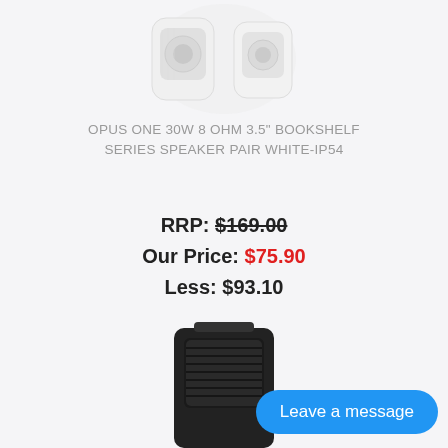[Figure (photo): White bookshelf speaker pair product image, partially cropped at top]
OPUS ONE 30W 8 OHM 3.5" BOOKSHELF SERIES SPEAKER PAIR WHITE-IP54
RRP: $169.00
Our Price: $75.90
Less: $93.10
[Figure (photo): Black portable speaker product image, partially cropped at bottom]
Leave a message